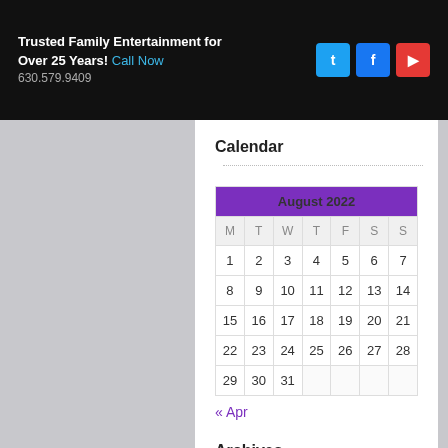Trusted Family Entertainment for Over 25 Years! Call Now 630.579.9409
Calendar
| M | T | W | T | F | S | S |
| --- | --- | --- | --- | --- | --- | --- |
| 1 | 2 | 3 | 4 | 5 | 6 | 7 |
| 8 | 9 | 10 | 11 | 12 | 13 | 14 |
| 15 | 16 | 17 | 18 | 19 | 20 | 21 |
| 22 | 23 | 24 | 25 | 26 | 27 | 28 |
| 29 | 30 | 31 |  |  |  |  |
« Apr
Archives